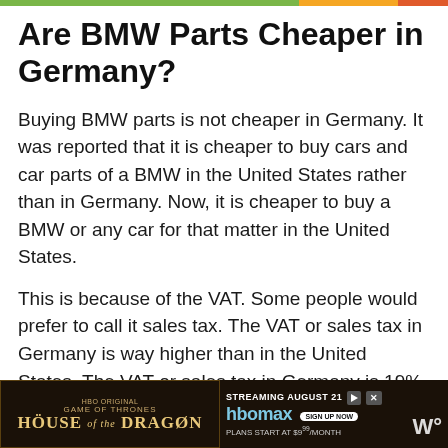Are BMW Parts Cheaper in Germany?
Buying BMW parts is not cheaper in Germany. It was reported that it is cheaper to buy cars and car parts of a BMW in the United States rather than in Germany. Now, it is cheaper to buy a BMW or any car for that matter in the United States.
This is because of the VAT. Some people would prefer to call it sales tax. The VAT or sales tax in Germany is way higher than in the United States. The VAT or sales tax in Germany is 19% or more. It is a vast d... s...
[Figure (screenshot): House of the Dragon HBO Max advertisement banner at the bottom of the page]